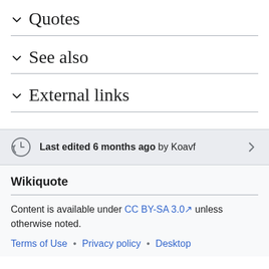Quotes
See also
External links
Last edited 6 months ago by Koavf
Wikiquote
Content is available under CC BY-SA 3.0 unless otherwise noted.
Terms of Use • Privacy policy • Desktop